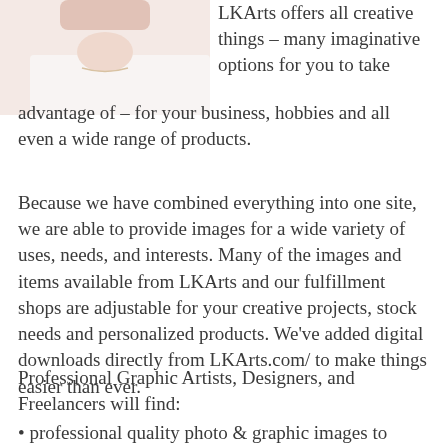[Figure (photo): Partial image of a woman in light/white clothing, showing shoulder and lower face with necklace, cropped at top-left of page]
LKArts offers all creative things – many imaginative options for you to take advantage of – for your business, hobbies and all even a wide range of products.
Because we have combined everything into one site, we are able to provide images for a wide variety of uses, needs, and interests. Many of the images and items available from LKArts and our fulfillment shops are adjustable for your creative projects, stock needs and personalized products. We've added digital downloads directly from LKArts.com/ to make things easier than ever.
Professional Graphic Artists, Designers, and Freelancers will find:
professional quality photo & graphic images to spark your